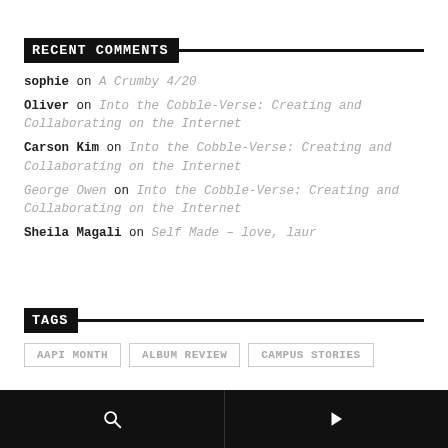RECENT COMMENTS
sophie on A Crumby 4/20
Oliver on Into the Cobble-Verse: Creating and Collaborating on the Internet
Carson Kim on Into the Cobble-Verse: Creating and Collaborating on the Internet
George Owen on Into the Cobble-Verse: Creating and Collaborating on the Internet
Sheila Magali on Self Made – love, laur
TAGS
AAPI MONTH
ALBUM REVIEW
CAMPUS STORIES